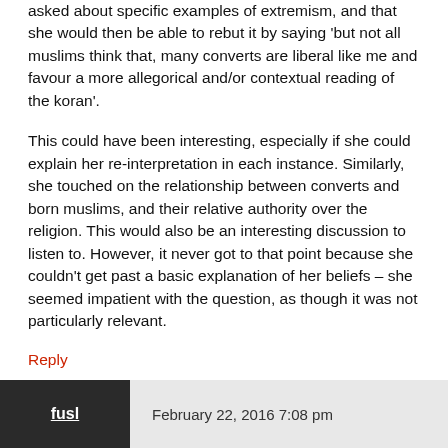asked about specific examples of extremism, and that she would then be able to rebut it by saying ‘but not all muslims think that, many converts are liberal like me and favour a more allegorical and/or contextual reading of the koran’.
This could have been interesting, especially if she could explain her re-interpretation in each instance. Similarly, she touched on the relationship between converts and born muslims, and their relative authority over the religion. This would also be an interesting discussion to listen to. However, it never got to that point because she couldn’t get past a basic explanation of her beliefs – she seemed impatient with the question, as though it was not particularly relevant.
Reply
fusl  February 22, 2016 7:08 pm